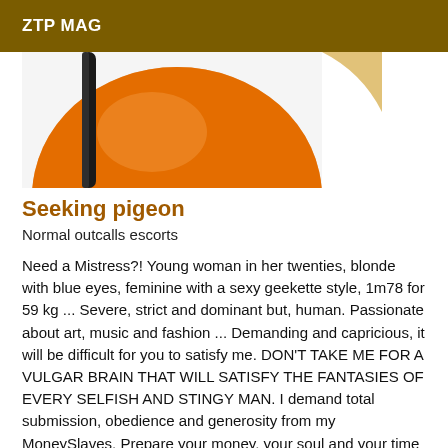ZTP MAG
[Figure (photo): Close-up photo of an orange object (possibly a pumpkin or ball) with a dark strap or cord visible on the left side, on a white background]
Seeking pigeon
Normal outcalls escorts
Need a Mistress?! Young woman in her twenties, blonde with blue eyes, feminine with a sexy geekette style, 1m78 for 59 kg ... Severe, strict and dominant but, human. Passionate about art, music and fashion ... Demanding and capricious, it will be difficult for you to satisfy me. DON'T TAKE ME FOR A VULGAR BRAIN THAT WILL SATISFY THE FANTASIES OF EVERY SELFISH AND STINGY MAN. I demand total submission, obedience and generosity from my MoneySlaves. Prepare your money, your soul and your time to indulge my every whim.